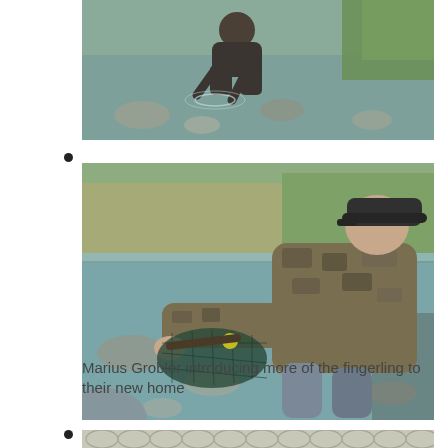[Figure (photo): Person crouching in a shallow stream releasing fish fingerlings, with grassy bank in background]
[Figure (photo): Marius Grobler wearing camouflage jacket kneeling in a shallow clear stream, using a net to release fingerlings into the water]
Marius Grobler introducing more of the fingerling to their new home
[Figure (photo): Close-up of a net with hexagonal mesh pattern, partially visible at bottom of page]